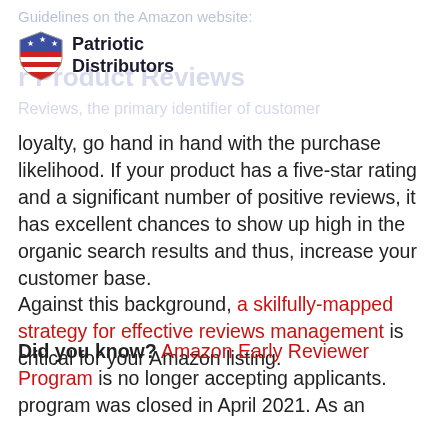Guidelines on the Amazon website:
[Figure (logo): Patriotic Distributors logo with shield featuring stars and stripes, company name in dark navy bold text]
Reviews, the primary identifier of customer loyalty, go hand in hand with the purchase likelihood. If your product has a five-star rating and a significant number of positive reviews, it has excellent chances to show up high in the organic search results and thus, increase your customer base.
Against this background, a skilfully-mapped strategy for effective reviews management is critical for your Amazon listing.
Did you know? Amazon Early Reviewer Program is no longer accepting applicants. program was closed in April 2021. As an